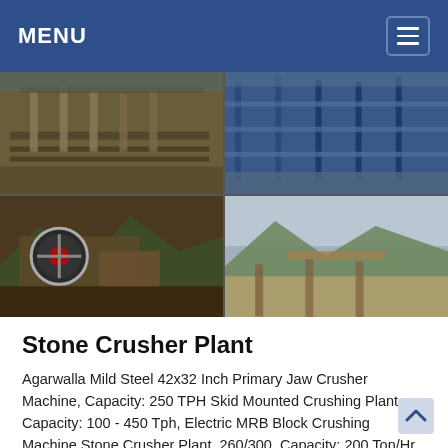MENU
[Figure (photo): Four-panel photo grid showing stone crusher plant industrial machinery and quarry site. Top-left: conveyor belts and industrial structure. Top-right: blue steel framework and conveyor system. Bottom-left: primary jaw crusher machine with flywheel in mountainous terrain. Bottom-right: wide quarry site with mountains and gravel processing area.]
Stone Crusher Plant
Agarwalla Mild Steel 42x32 Inch Primary Jaw Crusher Machine, Capacity: 250 TPH Skid Mounted Crushing Plant, Capacity: 100 - 450 Tph, Electric MRB Block Crushing Machine Stone Crusher Plant, 260/300, Capacity: 200 Ton/Hr